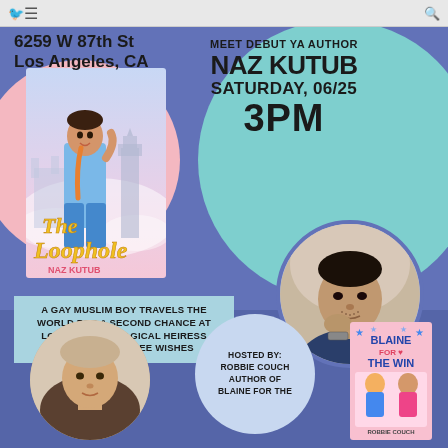Facebook browser bar with menu icon and search icon
6259 W 87th St
Los Angeles, CA
MEET DEBUT YA AUTHOR
NAZ KUTUB
SATURDAY, 06/25
3PM
[Figure (illustration): Book cover of 'The Loophole' by Naz Kutub — illustrated young man with backpack against fantasy cityscape background]
[Figure (photo): Headshot of Naz Kutub, an Asian man with short dark hair and stubble, resting chin on hand, wearing dark blue shirt]
A GAY MUSLIM BOY TRAVELS THE WORLD FOR A SECOND CHANCE AT LOVE AFTER A MAGICAL HEIRESS GRANTS HIM THREE WISHES
[Figure (photo): Headshot of a light-haired man smiling, presumably Robbie Couch]
HOSTED BY:
ROBBIE COUCH
AUTHOR OF
BLAINE FOR THE
[Figure (illustration): Book cover of 'Blaine for the Win' — colorful YA book cover]